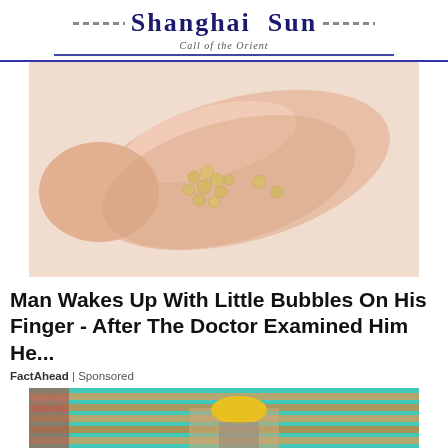Shanghai Sun — Call of the Orient
[Figure (photo): Close-up photo of a human finger with small yellow-tan bubbles/bumps clustered on the fingertip skin]
Man Wakes Up With Little Bubbles On His Finger - After The Doctor Examined Him He...
FactAhead | Sponsored
[Figure (photo): Photo of a construction worker in a yellow hard hat working on a roof with teal/turquoise underlayment visible]